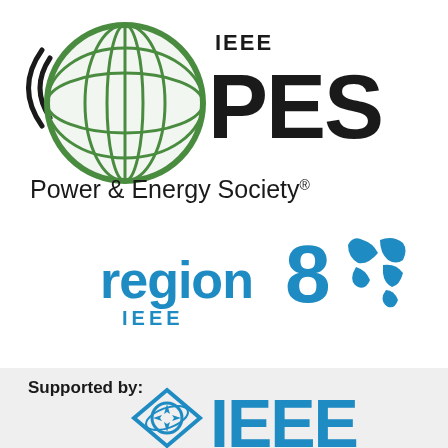[Figure (logo): IEEE PES Power & Energy Society logo with green globe and black IEEE PES text]
[Figure (logo): IEEE Region 8 logo with blue text and world map]
Supported by:
[Figure (logo): IEEE logo with blue diamond/compass icon and blue IEEE text]